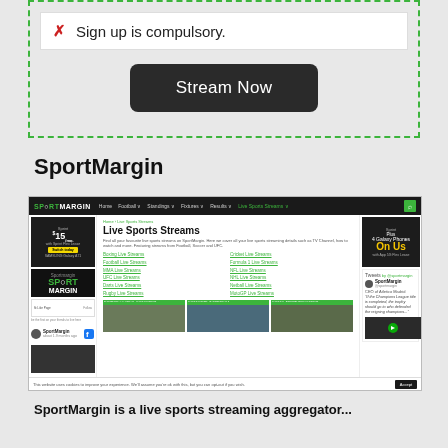✗ Sign up is compulsory.
[Figure (screenshot): Stream Now button inside a dashed green border box]
SportMargin
[Figure (screenshot): Screenshot of SportMargin website showing Live Sports Streams page with navigation, ads, links grid, and tweet sidebar]
SportMargin is a live sports streaming aggregator website...